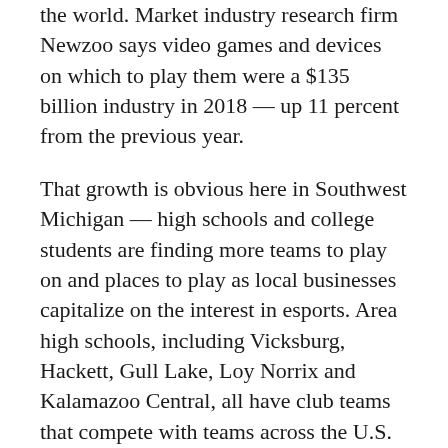the world. Market industry research firm Newzoo says video games and devices on which to play them were a $135 billion industry in 2018 — up 11 percent from the previous year.
That growth is obvious here in Southwest Michigan — high schools and college students are finding more teams to play on and places to play as local businesses capitalize on the interest in esports. Area high schools, including Vicksburg, Hackett, Gull Lake, Loy Norrix and Kalamazoo Central, all have club teams that compete with teams across the U.S. through the national High School Esports League.
Cross-generational appeal
Esports has wide appeal. One needn't be a specific age or experience level to play, and game interests